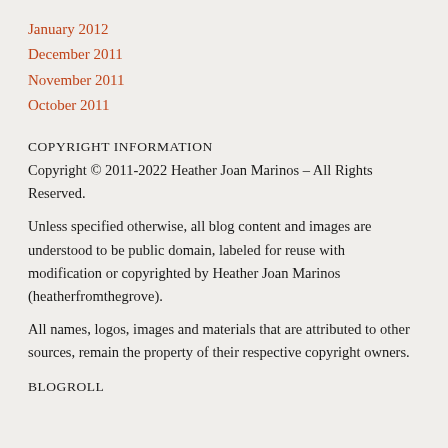January 2012
December 2011
November 2011
October 2011
COPYRIGHT INFORMATION
Copyright © 2011-2022 Heather Joan Marinos – All Rights Reserved.
Unless specified otherwise, all blog content and images are understood to be public domain, labeled for reuse with modification or copyrighted by Heather Joan Marinos (heatherfromthegrove).
All names, logos, images and materials that are attributed to other sources, remain the property of their respective copyright owners.
BLOGROLL